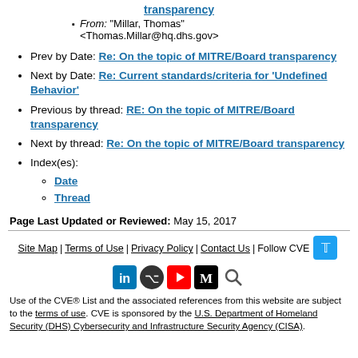From: "Millar, Thomas" <Thomas.Millar@hq.dhs.gov>
Prev by Date: Re: On the topic of MITRE/Board transparency
Next by Date: Re: Current standards/criteria for 'Undefined Behavior'
Previous by thread: RE: On the topic of MITRE/Board transparency
Next by thread: Re: On the topic of MITRE/Board transparency
Index(es): Date, Thread
Page Last Updated or Reviewed: May 15, 2017
Site Map | Terms of Use | Privacy Policy | Contact Us | Follow CVE
Use of the CVE® List and the associated references from this website are subject to the terms of use. CVE is sponsored by the U.S. Department of Homeland Security (DHS) Cybersecurity and Infrastructure Security Agency (CISA).